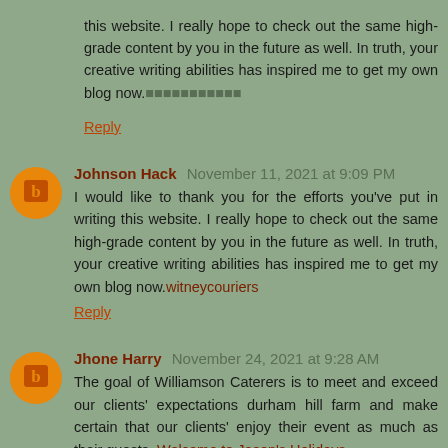this website. I really hope to check out the same high-grade content by you in the future as well. In truth, your creative writing abilities has inspired me to get my own blog now.■■■■■■■■■■■
Reply
Johnson Hack  November 11, 2021 at 9:09 PM
I would like to thank you for the efforts you've put in writing this website. I really hope to check out the same high-grade content by you in the future as well. In truth, your creative writing abilities has inspired me to get my own blog now.witneycouriers
Reply
Jhone Harry  November 24, 2021 at 9:28 AM
The goal of Williamson Caterers is to meet and exceed our clients' expectations durham hill farm and make certain that our clients' enjoy their event as much as their guests. Welcome to Jason's Holidays